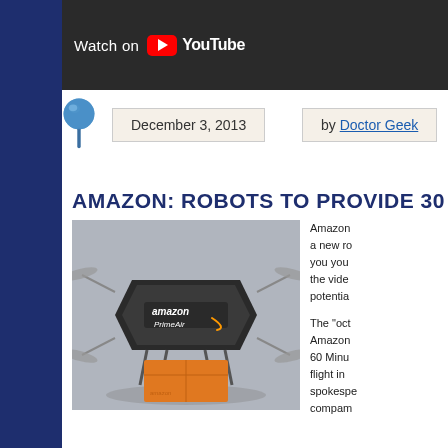[Figure (screenshot): YouTube watch bar with 'Watch on YouTube' text and YouTube logo on dark background]
December 3, 2013
by Doctor Geek
AMAZON: ROBOTS TO PROVIDE 30 M
[Figure (photo): Amazon Prime Air drone (octocopter) carrying an orange Amazon package, hovering above a surface]
Amazon a new ro you you the vide potentia

The "oct Amazon 60 Minu flight in spokespe compam